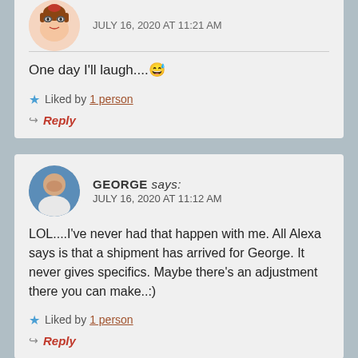One day I'll laugh....😆
Liked by 1 person
Reply
GEORGE says: JULY 16, 2020 AT 11:12 AM
LOL....I've never had that happen with me. All Alexa says is that a shipment has arrived for George. It never gives specifics. Maybe there's an adjustment there you can make..:)
Liked by 1 person
Reply